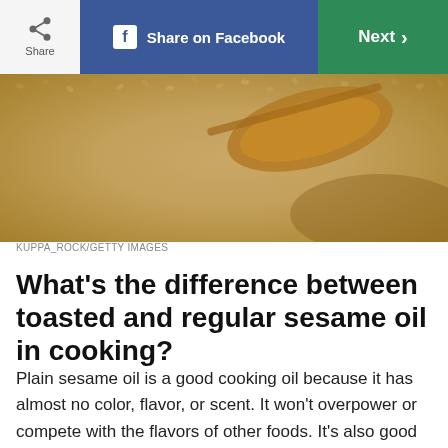Share | Share on Facebook | Next >
[Figure (photo): Close-up photo of sesame seeds with a wooden spoon, golden-tan colored seeds filling the frame]
KUPPA_ROCK/GETTY IMAGES
What’s the difference between toasted and regular sesame oil in cooking?
Plain sesame oil is a good cooking oil because it has almost no color, flavor, or scent. It won't overpower or compete with the flavors of other foods. It’s also good for frying, especially combined with another oil.